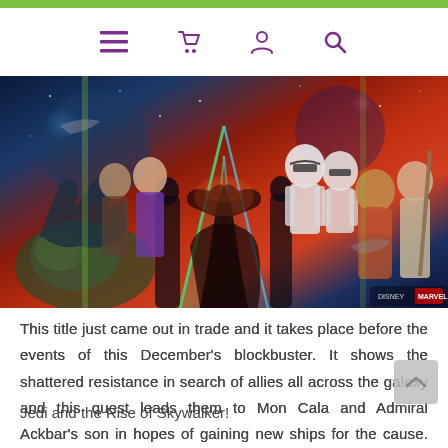Navigation bar with menu, basket, user, and search icons
[Figure (illustration): Star Wars comic book art collage showing multiple characters including stormtroopers, Kylo Ren, Rey, Poe Dameron, and various aliens in a dramatic sci-fi composition with lightsabers and spaceships. Disney and Marvel logos visible at bottom right.]
This title just came out in trade and it takes place before the events of this December's blockbuster. It shows the shattered resistance in search of allies all across the galaxy and this quest leads them to Mon Cala and Admiral Ackbar's son in hopes of gaining new ships for the cause. This is the perfect title to fill in the gap between The Last Jedi and the Rise of Skywalker!